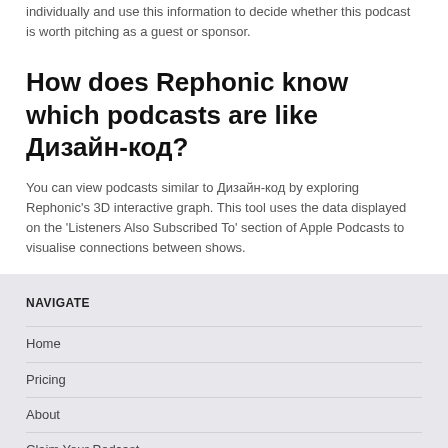View all the reviews in one place instead of visiting each platform individually and use this information to decide whether this podcast is worth pitching as a guest or sponsor.
How does Rephonic know which podcasts are like Дизайн-код?
You can view podcasts similar to Дизайн-код by exploring Rephonic's 3D interactive graph. This tool uses the data displayed on the 'Listeners Also Subscribed To' section of Apple Podcasts to visualise connections between shows.
NAVIGATE
Home
Pricing
About
Claim Your Podcast